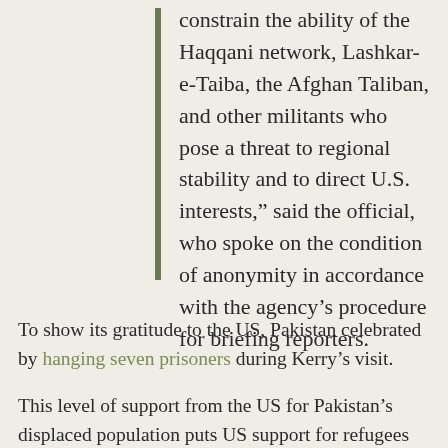constrain the ability of the Haqqani network, Lashkar-e-Taiba, the Afghan Taliban, and other militants who pose a threat to regional stability and to direct U.S. interests,” said the official, who spoke on the condition of anonymity in accordance with the agency’s procedure for briefing reporters.
To show its gratitude to the US, Pakistan celebrated by hanging seven prisoners during Kerry’s visit.
This level of support from the US for Pakistan’s displaced population puts US support for refugees from Syria’s civil war to shame. While the US pats itself loudly on the back by combining refugee